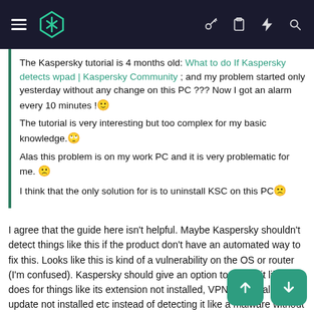Kaspersky Community forum navigation bar
The Kaspersky tutorial is 4 months old: What to do If Kaspersky detects wpad | Kaspersky Community ; and my problem started only yesterday without any change on this PC ??? Now I got an alarm every 10 minutes ! 🙂 The tutorial is very interesting but too complex for my basic knowledge. 🙄 Alas this problem is on my work PC and it is very problematic for me. 🙁 I think that the only solution for is to uninstall KSC on this PC 🙁
I agree that the guide here isn't helpful. Maybe Kaspersky shouldn't detect things like this if the product don't have an automated way to fix this. Looks like this is kind of a vulnerability on the OS or router (I'm confused). Kaspersky should give an option to ignore it like it does for things like its extension not installed, VPN not installed, update not installed etc instead of detecting it like a malware without giving any clue to the user.